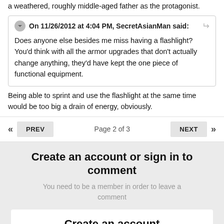a weathered, roughly middle-aged father as the protagonist.
On 11/26/2012 at 4:04 PM, SecretAsianMan said: Does anyone else besides me miss having a flashlight? You'd think with all the armor upgrades that don't actually change anything, they'd have kept the one piece of functional equipment.
Being able to sprint and use the flashlight at the same time would be too big a drain of energy, obviously.
Page 2 of 3
Create an account or sign in to comment
You need to be a member in order to leave a comment
Create an account
Sign up for a new account in our community. It's easy!